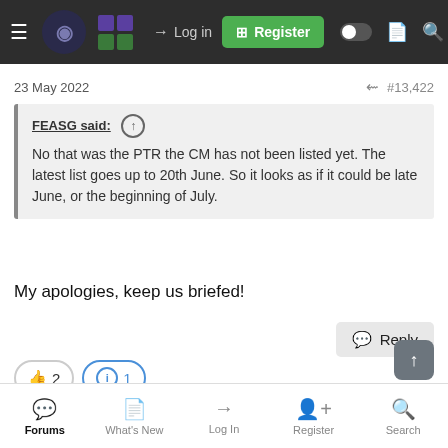Log in | Register | (navigation icons)
23 May 2022  #13,422
FEASG said: ↑
No that was the PTR the CM has not been listed yet. The latest list goes up to 20th June. So it looks as if it could be late June, or the beginning of July.
My apologies, keep us briefed!
Reply
👍 2  ℹ️ 1
Deleted 59779
Forums | What's New | Log In | Register | Search